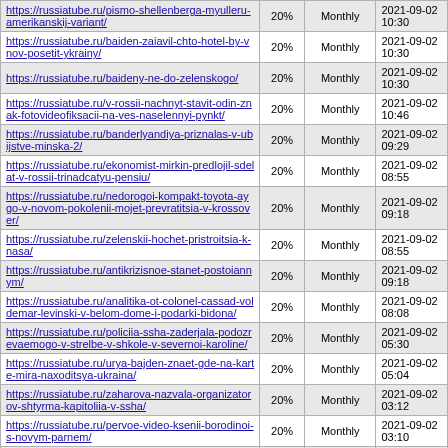| URL | Priority | Change Frequency | Last Modified |
| --- | --- | --- | --- |
| https://russiatube.ru/pismo-shellenberga-myulleru-amerikanskij-variant/ | 20% | Monthly | 2021-09-02 10:30 |
| https://russiatube.ru/baiden-zaiavil-chto-hotel-by-vnov-posetit-ykrainy/ | 20% | Monthly | 2021-09-02 10:30 |
| https://russiatube.ru/baideny-ne-do-zelenskogo/ | 20% | Monthly | 2021-09-02 10:30 |
| https://russiatube.ru/v-rossii-nachnyt-stavit-odin-znak-fotovideofiksacii-na-ves-naselennyi-pynkt/ | 20% | Monthly | 2021-09-02 10:46 |
| https://russiatube.ru/banderlyandiya-priznalas-v-ubijstve-minska-2/ | 20% | Monthly | 2021-09-02 09:29 |
| https://russiatube.ru/ekonomist-mirkin-predlojil-sdelat-v-rossii-trinadcatyu-pensiu/ | 20% | Monthly | 2021-09-02 08:55 |
| https://russiatube.ru/nedorogoi-kompakt-toyota-aygo-v-novom-pokolenii-mojet-prevratitsia-v-krossover/ | 20% | Monthly | 2021-09-02 09:18 |
| https://russiatube.ru/zelenskii-hochet-pristroitsia-k-nasa/ | 20% | Monthly | 2021-09-02 08:55 |
| https://russiatube.ru/antikrizisnoe-stanet-postoiannym/ | 20% | Monthly | 2021-09-02 09:18 |
| https://russiatube.ru/analitika-ot-colonel-cassad-voldemar-levinski-v-belom-dome-i-podarki-bidona/ | 20% | Monthly | 2021-09-02 08:08 |
| https://russiatube.ru/policiia-ssha-zaderjala-podozrevaemogo-v-strelbe-v-shkole-v-severnoi-karoline/ | 20% | Monthly | 2021-09-02 05:30 |
| https://russiatube.ru/urya-bajden-znaet-gde-na-karte-mira-naxoditsya-ukraina/ | 20% | Monthly | 2021-09-02 05:04 |
| https://russiatube.ru/zaharova-nazvala-organizatorov-shtyrma-kapitoliia-v-ssha/ | 20% | Monthly | 2021-09-02 03:12 |
| https://russiatube.ru/pervoe-video-ksenii-borodinoi-s-novym-parnem/ | 20% | Monthly | 2021-09-02 03:10 |
| https://russiatube.ru/dmitrij-olshanskij-kak-... | 20% | Monthly | 2021-09-02 |